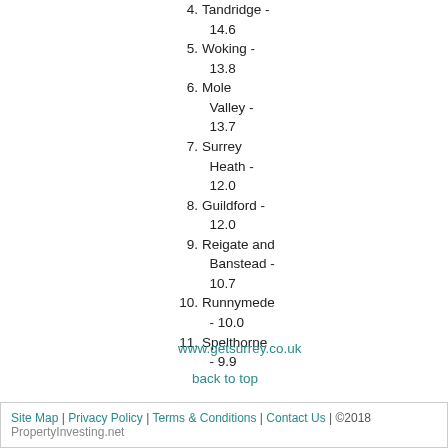4. Tandridge - 14.6
5. Woking - 13.8
6. Mole Valley - 13.7
7. Surrey Heath - 12.0
8. Guildford - 12.0
9. Reigate and Banstead - 10.7
10. Runnymede - 10.0
11. Spelthorne - 9.9
www.getsurrey.co.uk
back to top
Site Map | Privacy Policy | Terms & Conditions | Contact Us | ©2018 PropertyInvesting.net